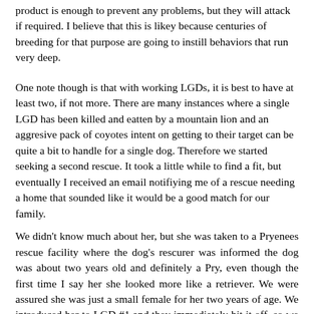product is enough to prevent any problems, but they will attack if required. I believe that this is likey because centuries of breeding for that purpose are going to instill behaviors that run very deep.
One note though is that with working LGDs, it is best to have at least two, if not more. There are many instances where a single LGD has been killed and eatten by a mountain lion and an aggresive pack of coyotes intent on getting to their target can be quite a bit to handle for a single dog. Therefore we started seeking a second rescue. It took a little while to find a fit, but eventually I received an email notifiying me of a rescue needing a home that sounded like it would be a good match for our family.
We didn't know much about her, but she was taken to a Pryenees rescue facility where the dog's rescurer was informed the dog was about two years old and definitely a Pry, even though the first time I say her she looked more like a retriever. We were assured she was just a small female for her two years of age. We introduced her to LGD #1 and they immediately hit it off, so we quickly decided she was a keeper, even if she was a little smaller than what we were hoping for. However, our "small" 70 pound female Pry grew, and grew and grew and then grew somemore. A few months later she was weighing at